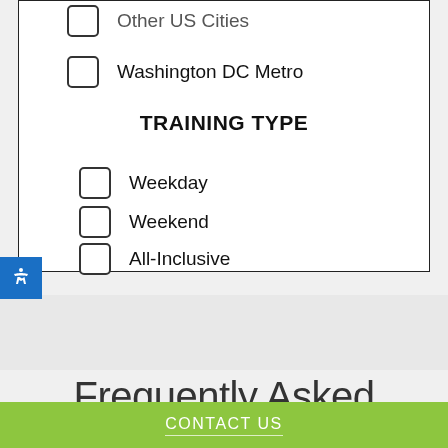Other US Cities
Washington DC Metro
TRAINING TYPE
Weekday
Weekend
All-Inclusive
Frequently Asked
CONTACT US